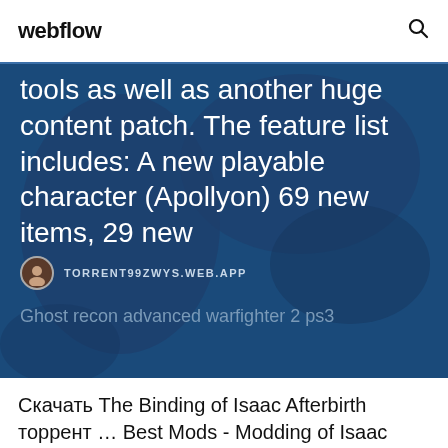webflow
tools as well as another huge content patch. The feature list includes: A new playable character (Apollyon) 69 new items, 29 new
TORRENT99ZWYS.WEB.APP
Ghost recon advanced warfighter 2 ps3
Скачать The Binding of Isaac Afterbirth торрент … Best Mods - Modding of Isaac